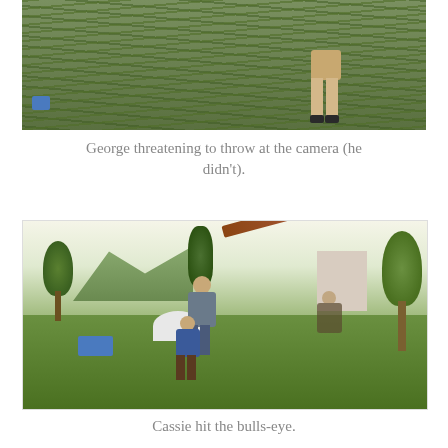[Figure (photo): Photo of a grassy hillside, partially cropped at top. A person's legs and shorts visible at right edge, wearing dark shoes. A blue object visible at lower left.]
George threatening to throw at the camera (he didn't).
[Figure (photo): Outdoor scene with children playing in a grassy field with trees. One person appears to have thrown an object (stick/javelin visible mid-air). A white tent/greenhouse structure visible in background, mountains in distance.]
Cassie hit the bulls-eye.